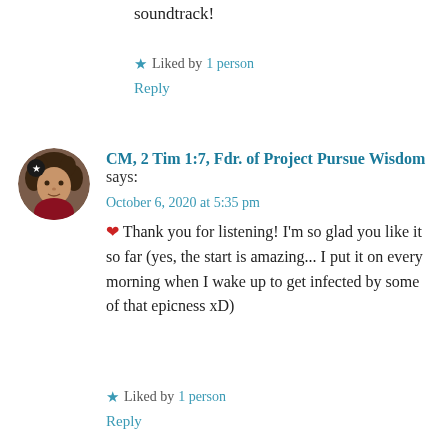soundtrack!
★ Liked by 1 person
Reply
[Figure (photo): Circular avatar photo of a person with curly hair, with a star badge in the top-left corner of the circle.]
CM, 2 Tim 1:7, Fdr. of Project Pursue Wisdom says:
October 6, 2020 at 5:35 pm
❤ Thank you for listening! I'm so glad you like it so far (yes, the start is amazing... I put it on every morning when I wake up to get infected by some of that epicness xD)
★ Liked by 1 person
Reply